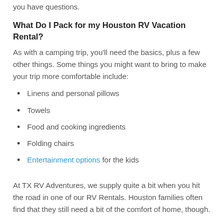you have questions.
What Do I Pack for my Houston RV Vacation Rental?
As with a camping trip, you'll need the basics, plus a few other things. Some things you might want to bring to make your trip more comfortable include:
Linens and personal pillows
Towels
Food and cooking ingredients
Folding chairs
Entertainment options for the kids
At TX RV Adventures, we supply quite a bit when you hit the road in one of our RV Rentals. Houston families often find that they still need a bit of the comfort of home, though.
Ready to Embrace the RV Life?
Whether it's your first time camping or your 100th, a